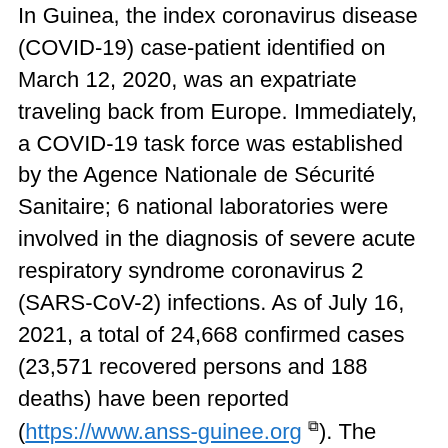In Guinea, the index coronavirus disease (COVID-19) case-patient identified on March 12, 2020, was an expatriate traveling back from Europe. Immediately, a COVID-19 task force was established by the Agence Nationale de Sécurité Sanitaire; 6 national laboratories were involved in the diagnosis of severe acute respiratory syndrome coronavirus 2 (SARS-CoV-2) infections. As of July 16, 2021, a total of 24,668 confirmed cases (23,571 recovered persons and 188 deaths) have been reported (https://www.anss-guinee.org). The Institut Pasteur de Guinée has contributed to the testing of >25,000 human nasopharyngeal swab samples. Most samples originated in the Conakry area from the Donka University Hospital and the Alpha Yaya Military Hospital, which serve the general population, and from the Health Center of the French Embassy, which serves mostly expatriates or travelers. We selected a